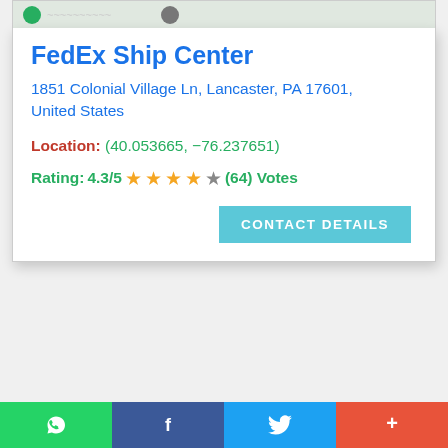[Figure (map): Partial map view with location icons visible at top]
FedEx Ship Center
1851 Colonial Village Ln, Lancaster, PA 17601, United States
Location: (40.053665, -76.237651)
Rating: 4.3/5 ★★★★☆ (64) Votes
CONTACT DETAILS
[Figure (infographic): Social share bar at bottom with WhatsApp (green), Facebook (blue), Twitter (light blue), and More (+) (red-orange) buttons]